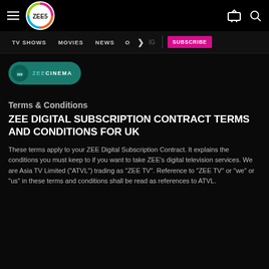[Figure (logo): ZEE5 streaming platform logo with colorful circular design]
TV SHOWS | MOVIES | NEWS | ORIG | SUBSCRIBE
[Figure (logo): ZEE CINEMA teal badge/logo]
Terms & Conditions
ZEE DIGITAL SUBSCRIPTION CONTRACT TERMS AND CONDITIONS FOR UK
These terms apply to your ZEE Digital Subscription Contract. It explains the conditions you must keep to if you want to take ZEE's digital television services. We are Asia TV Limited ("ATVL") trading as "ZEE TV". Reference to "ZEE TV" or "we" or "us" in these terms and conditions shall be read as references to ATVL.